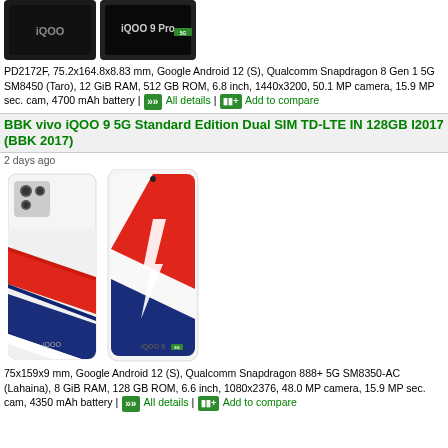[Figure (photo): Two iQOO Pro 5G smartphones shown side by side, dark color, top portion cropped]
PD2172F, 75.2x164.8x8.83 mm, Google Android 12 (S), Qualcomm Snapdragon 8 Gen 1 5G SM8450 (Taro), 12 GiB RAM, 512 GB ROM, 6.8 inch, 1440x3200, 50.1 MP camera, 15.9 MP sec. cam, 4700 mAh battery | All details | Add to compare
BBK vivo iQOO 9 5G Standard Edition Dual SIM TD-LTE IN 128GB I2017 (BBK 2017)
2 days ago
[Figure (photo): Two iQOO 9 5G smartphones shown side by side, white color with red/blue/white diagonal stripes on back, one showing front screen]
75x159x9 mm, Google Android 12 (S), Qualcomm Snapdragon 888+ 5G SM8350-AC (Lahaina), 8 GiB RAM, 128 GB ROM, 6.6 inch, 1080x2376, 48.0 MP camera, 15.9 MP sec. cam, 4350 mAh battery | All details | Add to compare